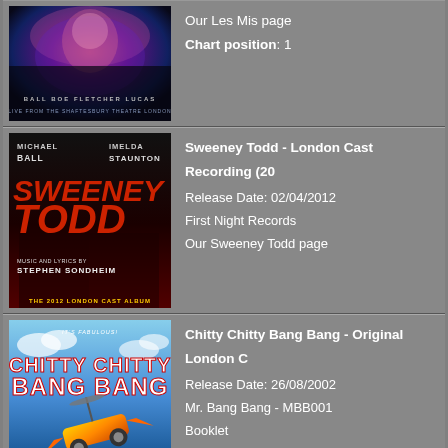[Figure (photo): Les Misérables musical album cover with dark blue/purple tones, featuring theatrical imagery. Text at bottom: BALL BOE FLETCHER LUCAS]
Our Les Mis page
Chart position: 1
[Figure (photo): Sweeney Todd London Cast Recording 2012 album cover, dark red and black tones. Michael Ball and Imelda Staunton. THE 2012 LONDON CAST ALBUM by Stephen Sondheim.]
Sweeney Todd - London Cast Recording (20...
Release Date: 02/04/2012
First Night Records
Our Sweeney Todd page
[Figure (photo): Chitty Chitty Bang Bang Original London Cast Recording album cover, blue sky background with flying car. CHITTY CHITTY BANG BANG in large white text.]
Chitty Chitty Bang Bang - Original London C...
Release Date: 26/08/2002
Mr. Bang Bang - MBB001
Booklet
[Figure (photo): Partial album cover at bottom, showing MICHAEL BALL text in white/yellow on dark background.]
Passion (1997)